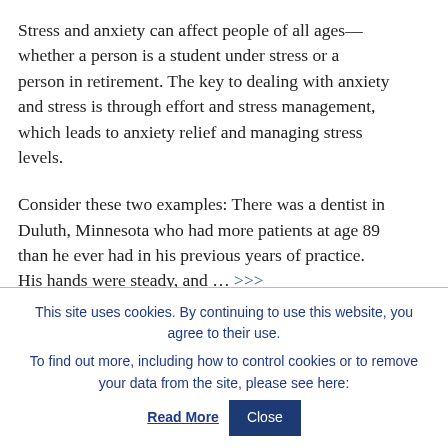Stress and anxiety can affect people of all ages—whether a person is a student under stress or a person in retirement. The key to dealing with anxiety and stress is through effort and stress management, which leads to anxiety relief and managing stress levels.
Consider these two examples: There was a dentist in Duluth, Minnesota who had more patients at age 89 than he ever had in his previous years of practice. His hands were steady, and … >>>
[Figure (other): Accessibility icon button — dark navy blue square with white universal accessibility person icon (circle head, arms out, legs spread) inside a white circle outline]
This site uses cookies. By continuing to use this website, you agree to their use.
To find out more, including how to control cookies or to remove your data from the site, please see here: Read More